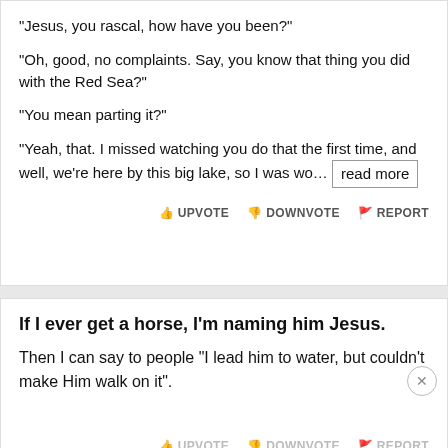"Jesus, you rascal, how have you been?"

"Oh, good, no complaints. Say, you know that thing you did with the Red Sea?"

"You mean parting it?"

"Yeah, that. I missed watching you do that the first time, and well, we're here by this big lake, so I was wo… read more
UPVOTE  DOWNVOTE  REPORT
If I ever get a horse, I'm naming him Jesus.
Then I can say to people "I lead him to water, but couldn't make Him walk on it".
UPVOTE  DOWNVOTE  REPORT
[Figure (screenshot): GET THE DISNEY BUNDLE advertisement banner with Hulu, Disney+, ESPN+ logos on dark background]
Jesu…